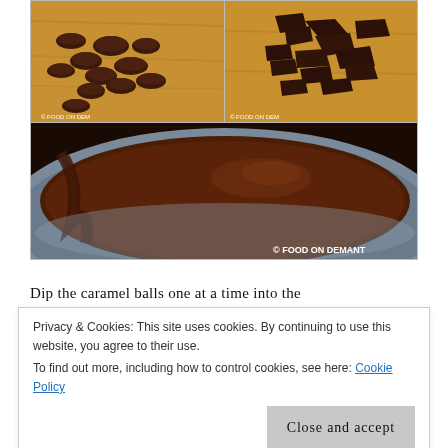[Figure (photo): Two-part top photo: left shows dark chocolate discs/chips on a wooden surface (© FOOD ON DEM watermark), right shows chopped dark chocolate on wooden surface (© FOOD ON DEM watermark). Bottom photo shows melted chocolate in a glass bowl (© FOOD ON DEMANT watermark).]
Dip the caramel balls one at a time into the
Privacy & Cookies: This site uses cookies. By continuing to use this website, you agree to their use.
To find out more, including how to control cookies, see here: Cookie Policy
Close and accept
Store in layers, separated by waxed paper in an